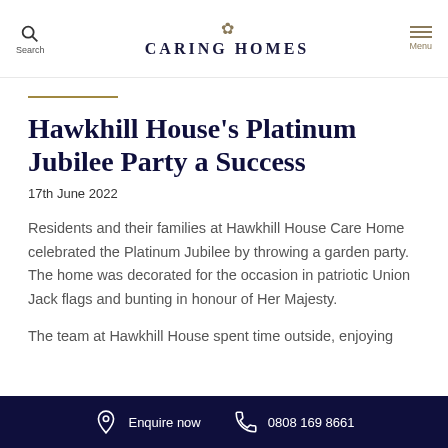CARING HOMES
Hawkhill House’s Platinum Jubilee Party a Success
17th June 2022
Residents and their families at Hawkhill House Care Home celebrated the Platinum Jubilee by throwing a garden party. The home was decorated for the occasion in patriotic Union Jack flags and bunting in honour of Her Majesty.
The team at Hawkhill House spent time outside, enjoying
Enquire now   0808 169 8661